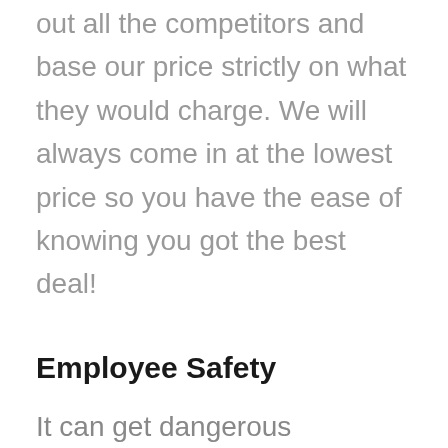out all the competitors and base our price strictly on what they would charge. We will always come in at the lowest price so you have the ease of knowing you got the best deal!
Employee Safety
It can get dangerous removing certain junk items. Luckily our staff is fully trained to ensure everyone's safety, including their own, is their top priority. You can have the satisfaction of knowing that you nor our employees will ever be put into a